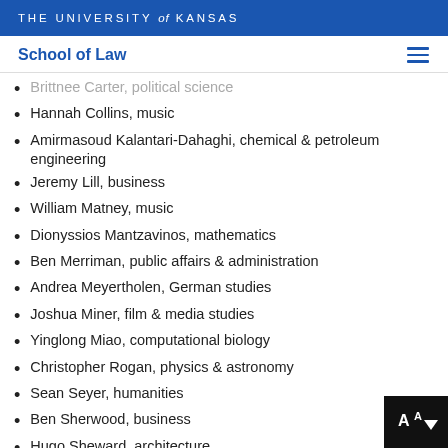THE UNIVERSITY of KANSAS
School of Law
Brittnee Carter, political science
Hannah Collins, music
Amirmasoud Kalantari-Dahaghi, chemical & petroleum engineering
Jeremy Lill, business
William Matney, music
Dionyssios Mantzavinos, mathematics
Ben Merriman, public affairs & administration
Andrea Meyertholen, German studies
Joshua Miner, film & media studies
Yinglong Miao, computational biology
Christopher Rogan, physics & astronomy
Sean Seyer, humanities
Ben Sherwood, business
Hugo Sheward, architecture
Adam Smith, pharmacology & toxicology